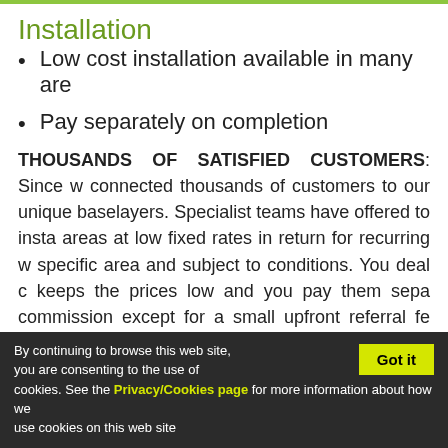Installation
Low cost installation available in many are
Pay separately on completion
THOUSANDS OF SATISFIED CUSTOMERS: Since w connected thousands of customers to our unique baselayers. Specialist teams have offered to insta areas at low fixed rates in return for recurring w specific area and subject to conditions. You deal c keeps the prices low and you pay them sepa commission except for a small upfront referral fe nothing and we pay them nothing. Although we d directly we listen carefully to feedback and any t removed from our network. For decades this offe
By continuing to browse this web site, you are consenting to the use of cookies. See the Privacy/Cookies page for more information about how we use cookies on this web site